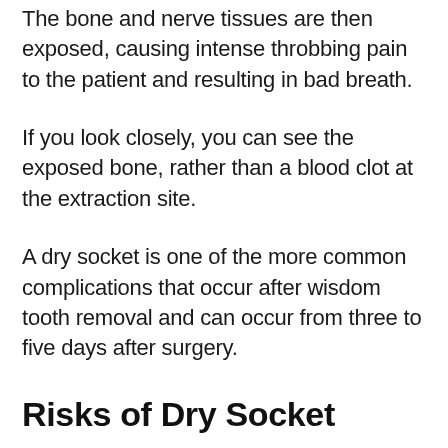The bone and nerve tissues are then exposed, causing intense throbbing pain to the patient and resulting in bad breath.
If you look closely, you can see the exposed bone, rather than a blood clot at the extraction site.
A dry socket is one of the more common complications that occur after wisdom tooth removal and can occur from three to five days after surgery.
Risks of Dry Socket